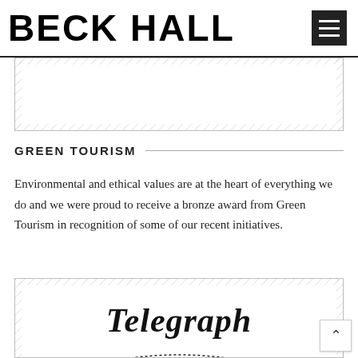BECK HALL
[Figure (photo): Partial image placeholder with diagonal hatch pattern border, content cropped]
GREEN TOURISM
Environmental and ethical values are at the heart of everything we do and we were proud to receive a bronze award from Green Tourism in recognition of some of our recent initiatives.
[Figure (logo): Telegraph newspaper logo in blackletter/gothic font with decorative dotted arc border below]